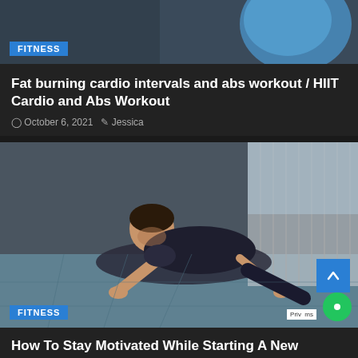[Figure (photo): Person exercising with a blue fitness ball, partially visible at top of page]
FITNESS
Fat burning cardio intervals and abs workout / HIIT Cardio and Abs Workout
October 6, 2021  Jessica
[Figure (photo): Man in dark t-shirt doing a push-up or plank position on a blue gym mat, in a gym setting]
FITNESS
How To Stay Motivated While Starting A New Workout